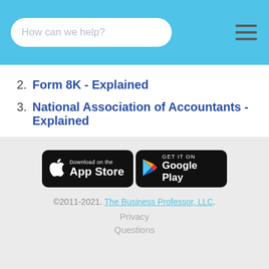How can we help?
2. Form 8K - Explained
3. National Association of Accountants - Explained
4. Fiscal Year - Explained
[Figure (other): App Store and Google Play download buttons]
©2011-2021. The Business Professor, LLC. Privacy Questions